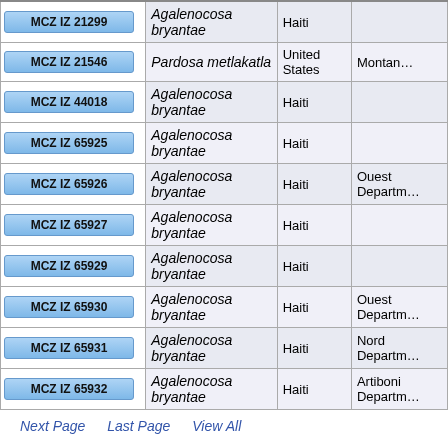| ID | Species | Country | Region |
| --- | --- | --- | --- |
| MCZ IZ 21299 | Agalenocosa bryantae | Haiti |  |
| MCZ IZ 21546 | Pardosa metlakatla | United States | Montan… |
| MCZ IZ 44018 | Agalenocosa bryantae | Haiti |  |
| MCZ IZ 65925 | Agalenocosa bryantae | Haiti |  |
| MCZ IZ 65926 | Agalenocosa bryantae | Haiti | Ouest Departm… |
| MCZ IZ 65927 | Agalenocosa bryantae | Haiti |  |
| MCZ IZ 65929 | Agalenocosa bryantae | Haiti |  |
| MCZ IZ 65930 | Agalenocosa bryantae | Haiti | Ouest Departm… |
| MCZ IZ 65931 | Agalenocosa bryantae | Haiti | Nord Departm… |
| MCZ IZ 65932 | Agalenocosa bryantae | Haiti | Artiboni Departm… |
Next Page   Last Page   View All
Detail Level  What's this?